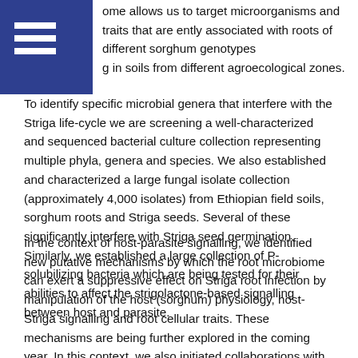ome allows us to target microorganisms and traits that are ently associated with roots of different sorghum genotypes g in soils from different agroecological zones. To identify specific microbial genera that interfere with the Striga life-cycle we are screening a well-characterized and sequenced bacterial culture collection representing multiple phyla, genera and species. We also established and characterized a large fungal isolate collection (approximately 4,000 isolates) from Ethiopian field soils, sorghum roots and Striga seeds. Several of these significantly interfere with Striga seed germination. Similarly, we established a large collection of P-solubilizing bacteria which are being tested for their abilities to affect the strigolactone-based signalling between host and parasite.
In the context of host-parasite signalling, we identified new putative mechanisms by which the root microbiome can exert a suppressive effect on Striga root infection by manipulation of the host (sorghum) physiology, host-Striga signalling and root cellular traits. These mechanisms are being further explored in the coming year. In this context, we also initiated collaborations with two other projects funded by the Bill & Melinda Gates Foundation in Africa and